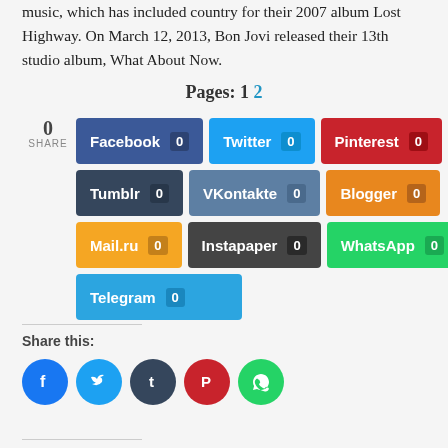music, which has included country for their 2007 album Lost Highway. On March 12, 2013, Bon Jovi released their 13th studio album, What About Now.
Pages: 1 2
[Figure (infographic): Social sharing widget with count of 0 SHARE and buttons for Facebook (0), Twitter (0), Pinterest (0), Tumblr (0), VKontakte (0), Blogger (0), Mail.ru (0), Instapaper (0), WhatsApp (0), Telegram (0)]
Share this:
[Figure (infographic): Row of circular social share buttons: Facebook (blue), Twitter (light blue), Tumblr (dark), Pinterest (red), WhatsApp (green)]